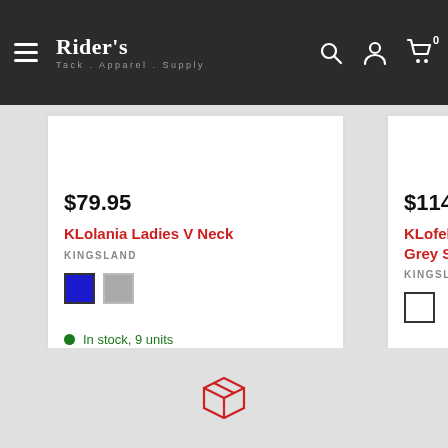Rider's Tack . Apparel . Supply
$79.95
KLolania Ladies V Neck
KINGSLAND
In stock, 9 units
$114.95
KLofelicia Ladies S Grey Sleet
KINGSLAND
In stock, 3 units
[Figure (illustration): Package/box icon in red outline at bottom center of page]